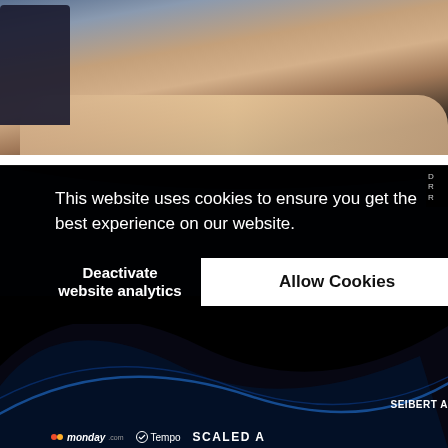[Figure (photo): Top photo showing people at a networking event, partially cropped, with warm tones and dark background]
Featured
BTS Facades and Fabrications hosts networking event in partnership with the (AMF)
August 2, 2022
[Figure (screenshot): Cookie consent overlay on dark background with partial image of another article below]
This website uses cookies to ensure you get the best experience on our website.
Deactivate website analytics
Allow Cookies